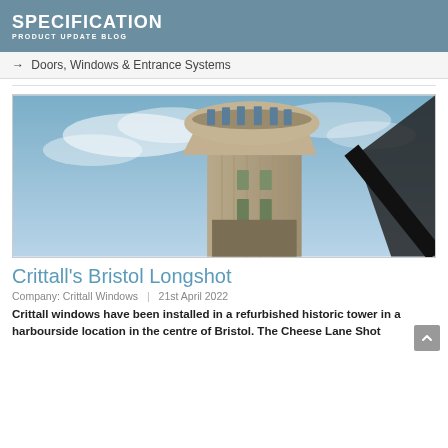SPECIFICATION PRODUCT UPDATE BLOG
→ Doors, Windows & Entrance Systems
[Figure (photo): Upward-angle photograph of a historic tower building with brutalist architecture against a blue sky, with a dark diagonal element (window frame or cable) crossing the lower right corner.]
Crittall's Bristol Longshot
Company: Crittall Windows | 21st April 2022
Crittall windows have been installed in a refurbished historic tower in a harbourside location in the centre of Bristol. The Cheese Lane Shot